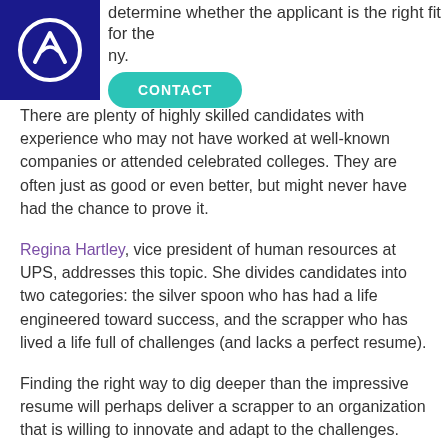determine whether the applicant is the right fit for the ny.
[Figure (logo): Dark blue square logo with white circular mountain/peak icon]
CONTACT
There are plenty of highly skilled candidates with experience who may not have worked at well-known companies or attended celebrated colleges. They are often just as good or even better, but might never have had the chance to prove it.
Regina Hartley, vice president of human resources at UPS, addresses this topic. She divides candidates into two categories: the silver spoon who has had a life engineered toward success, and the scrapper who has lived a life full of challenges (and lacks a perfect resume).
Finding the right way to dig deeper than the impressive resume will perhaps deliver a scrapper to an organization that is willing to innovate and adapt to the challenges.